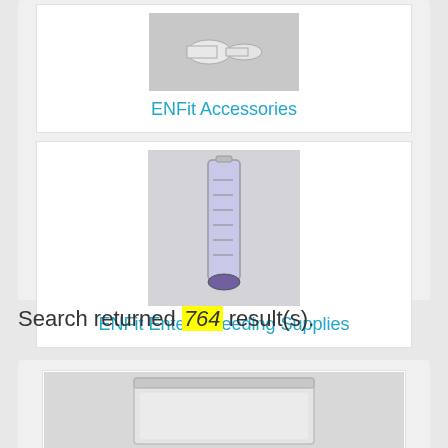[Figure (photo): ENFit accessories product photo - small white connector pieces on gray background]
ENFit Accessories
[Figure (photo): ENFit enteral feeding syringe with purple plunger on gray background]
ENFit Enteral Feeding Supplies
Search returned 764 result(s).
[Figure (photo): Clear plastic zip-lock bag product photo on light gray background]